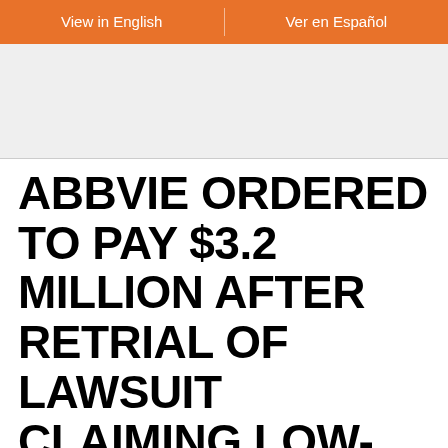View in English | Ver en Español
[Figure (logo): Website logo/header image area with light gray background]
ABBVIE ORDERED TO PAY $3.2 MILLION AFTER RETRIAL OF LAWSUIT CLAIMING LOW-TESTOSTERONE DRUG ANDROGEL